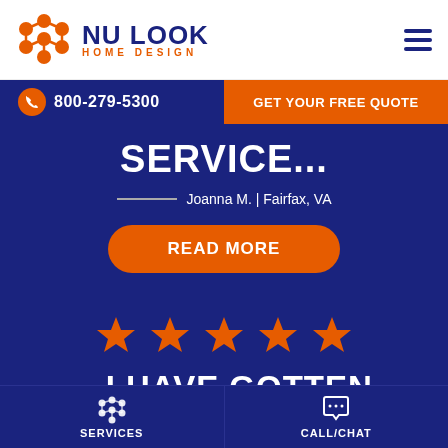[Figure (logo): Nu Look Home Design logo with orange dot-grid icon and navy/orange text]
800-279-5300
GET YOUR FREE QUOTE
SERVICE...
Joanna M. | Fairfax, VA
READ MORE
[Figure (other): Five orange star rating icons]
...I HAVE GOTTEN SEVERAL